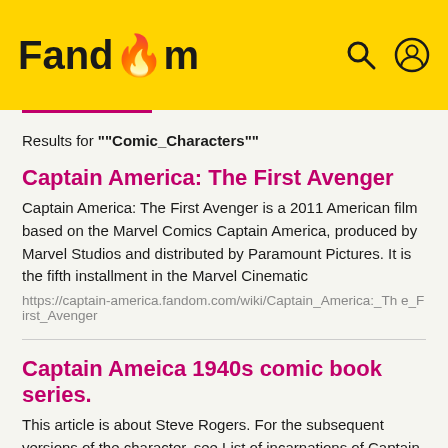Fandom
Results for ""Comic_Characters""
Captain America: The First Avenger
Captain America: The First Avenger is a 2011 American film based on the Marvel Comics Captain America, produced by Marvel Studios and distributed by Paramount Pictures. It is the fifth installment in the Marvel Cinematic
https://captain-america.fandom.com/wiki/Captain_America:_The_First_Avenger
Captain Ameica 1940s comic book series.
This article is about Steve Rogers. For the subsequent versions of the character, see List of incarnations of Captain America. For the 2011 film, see Captain America: The First Avenger. For other uses, see Captain
https://captain-america.fandom.com/wiki/Captain_Ameica_194